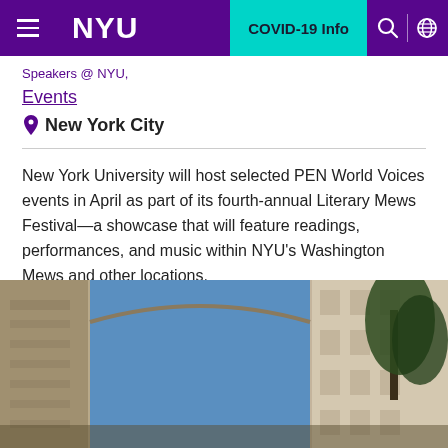NYU | COVID-19 Info
Speakers @ NYU,
Events
New York City
New York University will host selected PEN World Voices events in April as part of its fourth-annual Literary Mews Festival—a showcase that will feature readings, performances, and music within NYU's Washington Mews and other locations.
[Figure (photo): Photograph of Washington Square Arch in New York City, viewed from below looking up through the arch, with a blue sky visible through the arch opening and trees to the right.]